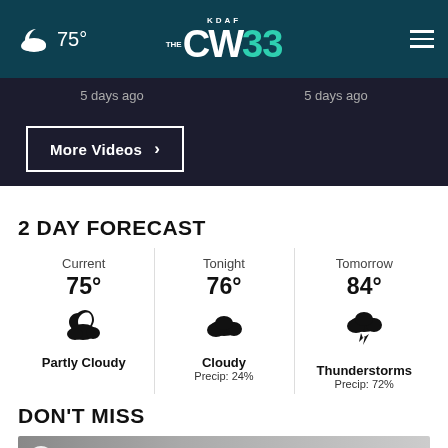KDAF CW33 — 75° weather header navigation
5 days ago    5 days ago
More Videos ›
2 DAY FORECAST
| Current | Tonight | Tomorrow |
| --- | --- | --- |
| 75° | 76° | 84° |
| Partly Cloudy | Cloudy
Precip: 24% | Thunderstorms
Precip: 72% |
DON'T MISS
[Figure (photo): Thumbnail image strip at bottom of page]